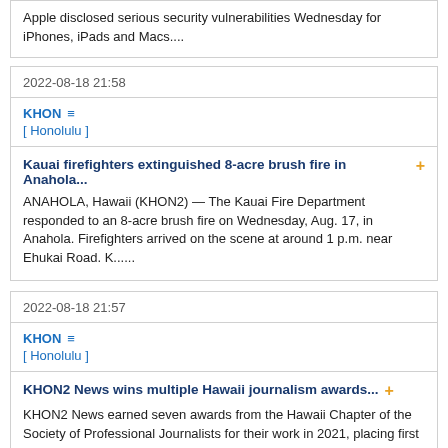Apple disclosed serious security vulnerabilities Wednesday for iPhones, iPads and Macs....
2022-08-18 21:58
KHON  [ Honolulu ]
Kauai firefighters extinguished 8-acre brush fire in Anahola... +
ANAHOLA, Hawaii (KHON2) — The Kauai Fire Department responded to an 8-acre brush fire on Wednesday, Aug. 17, in Anahola. Firefighters arrived on the scene at around 1 p.m. near Ehukai Road. K......
2022-08-18 21:57
KHON  [ Honolulu ]
KHON2 News wins multiple Hawaii journalism awards... +
KHON2 News earned seven awards from the Hawaii Chapter of the Society of Professional Journalists for their work in 2021, placing first in three categories and sweeping the Feature Reporting catego......